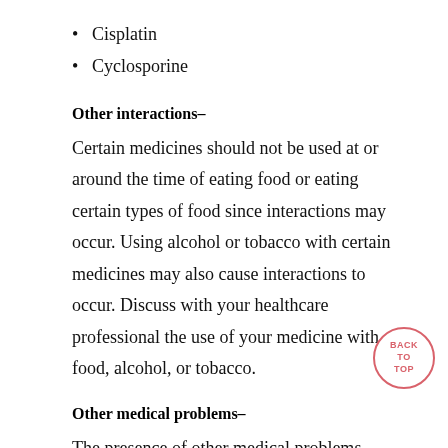Cisplatin
Cyclosporine
Other interactions–
Certain medicines should not be used at or around the time of eating food or eating certain types of food since interactions may occur. Using alcohol or tobacco with certain medicines may also cause interactions to occur. Discuss with your healthcare professional the use of your medicine with food, alcohol, or tobacco.
Other medical problems–
The presence of other medical problems may affect the use of this medicine. Make sure you tell your doctor if